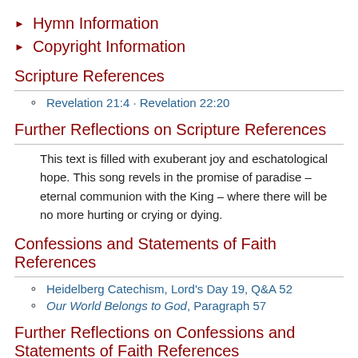► Hymn Information
► Copyright Information
Scripture References
Revelation 21:4 · Revelation 22:20
Further Reflections on Scripture References
This text is filled with exuberant joy and eschatological hope. This song revels in the promise of paradise – eternal communion with the King – where there will be no more hurting or crying or dying.
Confessions and Statements of Faith References
Heidelberg Catechism, Lord's Day 19, Q&A 52
Our World Belongs to God, Paragraph 57
Further Reflections on Confessions and Statements of Faith References
Heidelberg Catechism, Lord's Day 19, Question and Answer